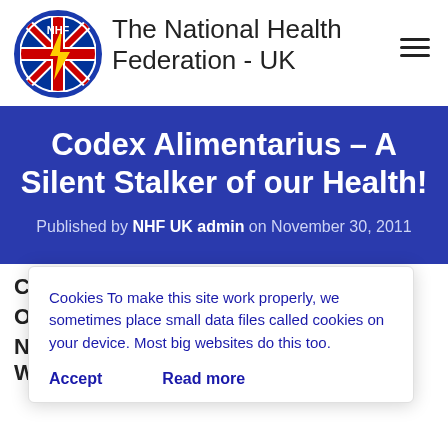[Figure (logo): NHF UK circular logo with UK flag background and lightning bolt symbol]
The National Health Federation - UK
Codex Alimentarius – A Silent Stalker of our Health!
Published by NHF UK admin on November 30, 2011
STALKER
LY WHAT THEY WANT
Cookies To make this site work properly, we sometimes place small data files called cookies on your device. Most big websites do this too.
Accept
Read more